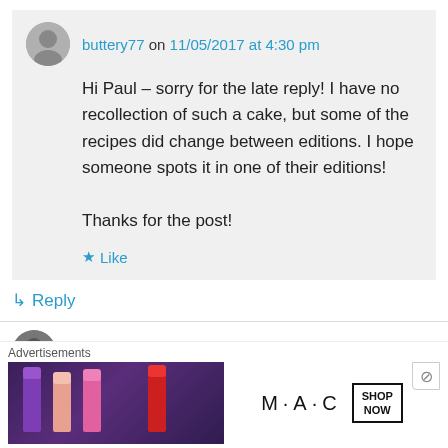buttery77 on 11/05/2017 at 4:30 pm
Hi Paul – sorry for the late reply! I have no recollection of such a cake, but some of the recipes did change between editions. I hope someone spots it in one of their editions!

Thanks for the post!
Like
Reply
Michelle276 on 03/08/2017 at 6:56 pm
Advertisements